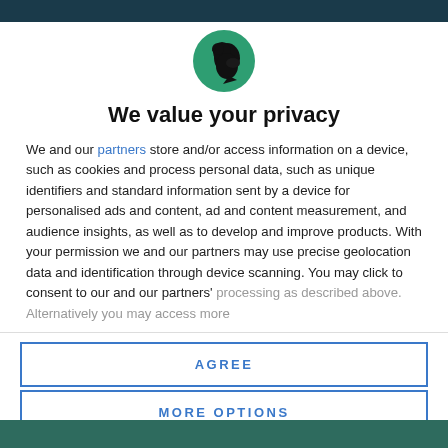[Figure (logo): Circular green logo with a black silhouette of a bird/raven facing right]
We value your privacy
We and our partners store and/or access information on a device, such as cookies and process personal data, such as unique identifiers and standard information sent by a device for personalised ads and content, ad and content measurement, and audience insights, as well as to develop and improve products. With your permission we and our partners may use precise geolocation data and identification through device scanning. You may click to consent to our and our partners' processing as described above. Alternatively you may access more
AGREE
MORE OPTIONS